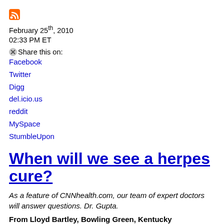[Figure (logo): RSS feed orange icon]
February 25th, 2010
02:33 PM ET
Share this on:
Facebook
Twitter
Digg
del.icio.us
reddit
MySpace
StumbleUpon
When will we see a herpes cure?
As a feature of CNNhealth.com, our team of expert doctors will answer questions. Dr. Gupta.
From Lloyd Bartley, Bowling Green, Kentucky
“How close are scientists to developing a cure for herpes, figuratively in 10, 20, or even 30 years?”